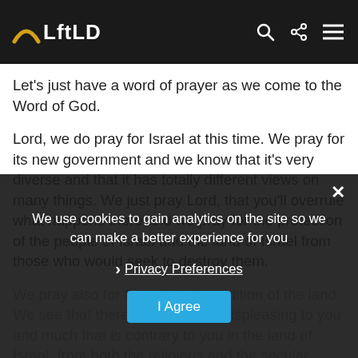LftLD
Let's just have a word of prayer as we come to the Word of God.
Lord, we do pray for Israel at this time. We pray for its new government and we know that it's very diverse and that it has totally different views on many things. We just pray Lord, that you'll overrule what happens there and we pray for the protection of the people of Israel and the land of Israel from those who would seek to destroy them.
We pray also for the spiritual condition of the land. We see that there's much that's displeasing to you and much that is contrary to you in the land of Israel, from both the religious and the secular aspects, so we just pray Lord, that those who are for you, the Jewish believers in Yeshua and who preach the Word of God
We use cookies to gain analytics on the site so we can make a better experience for you
Privacy Preferences
I Agree